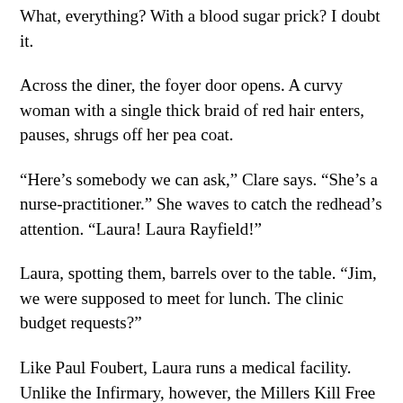What, everything? With a blood sugar prick? I doubt it.
Across the diner, the foyer door opens. A curvy woman with a single thick braid of red hair enters, pauses, shrugs off her pea coat.
“Here’s somebody we can ask,” Clare says. “She’s a nurse-practitioner.” She waves to catch the redhead’s attention. “Laura! Laura Rayfield!”
Laura, spotting them, barrels over to the table. “Jim, we were supposed to meet for lunch. The clinic budget requests?”
Like Paul Foubert, Laura runs a medical facility. Unlike the Infirmary, however, the Millers Kill Free Clinic is funded entirely through a combination of state grants and town money. Jim Cameron, his mouth stuffed to capacity with corned beef and swiss cheese, stares at the clinic director with round and guilty eyes, looking for all the world like a